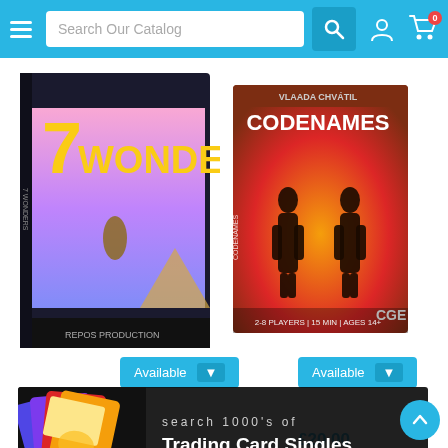[Figure (screenshot): Website header with hamburger menu, search bar reading 'Search Our Catalog', search icon, user icon, and cart icon with badge '0' on a light blue background]
[Figure (photo): 7 Wonders board game box with yellow '7WONDERS' text on dark background, showing ancient statue and pyramid artwork]
[Figure (photo): Codenames board game box in red/orange gradient with two silhouetted figures in suits on the cover]
[Figure (screenshot): Two 'Available' dropdown buttons in light blue with darker blue dropdown arrows]
[Figure (screenshot): Dark banner overlay with trading card images on the left and text 'search 1000's of Trading Card Singles' on black background]
£20.00